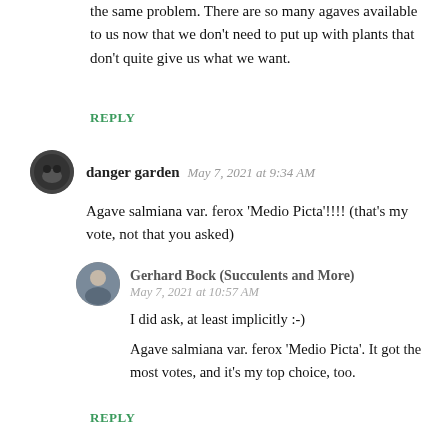the same problem. There are so many agaves available to us now that we don't need to put up with plants that don't quite give us what we want.
REPLY
danger garden   May 7, 2021 at 9:34 AM
Agave salmiana var. ferox 'Medio Picta'!!!! (that's my vote, not that you asked)
Gerhard Bock (Succulents and More)  May 7, 2021 at 10:57 AM
I did ask, at least implicitly :-)
Agave salmiana var. ferox 'Medio Picta'. It got the most votes, and it's my top choice, too.
REPLY